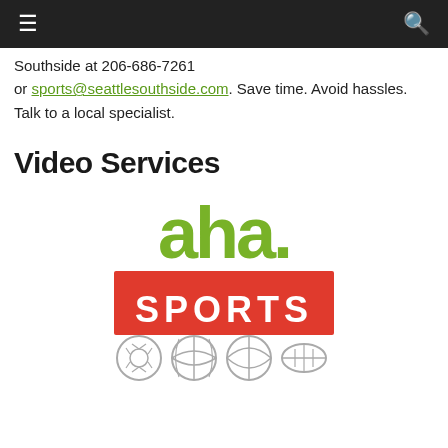≡  🔍
Southside at 206-686-7261 or sports@seattlesouthside.com. Save time. Avoid hassles. Talk to a local specialist.
Video Services
[Figure (logo): aha. SPORTS logo with green 'aha.' text above a red rectangle containing white 'SPORTS' text, with four sport ball icons below (soccer, basketball, volleyball, football)]